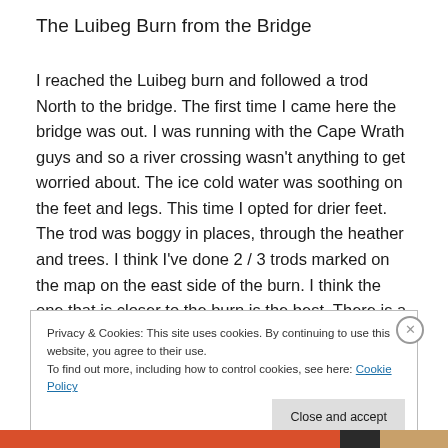The Luibeg Burn from the Bridge
I reached the Luibeg burn and followed a trod North to the bridge. The first time I came here the bridge was out. I was running with the Cape Wrath guys and so a river crossing wasn't anything to get worried about. The ice cold water was soothing on the feet and legs. This time I opted for drier feet. The trod was boggy in places, through the heather and trees. I think I've done 2 / 3 trods marked on the map on the east side of the burn. I think the one that is closer to the burn is the best. There is a higher up trod
Privacy & Cookies: This site uses cookies. By continuing to use this website, you agree to their use.
To find out more, including how to control cookies, see here: Cookie Policy